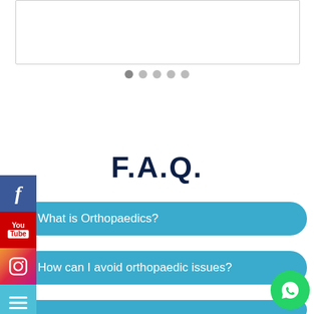[Figure (other): Slider/carousel image box at top of page, currently empty/white with border]
[Figure (other): Carousel navigation dots — 5 dots, first active/filled, rest lighter]
F.A.Q.
What is Orthopaedics?
How can I avoid orthopaedic issues?
[Figure (other): Social media sidebar with Facebook, YouTube, and Instagram icons]
[Figure (other): WhatsApp floating button bottom right]